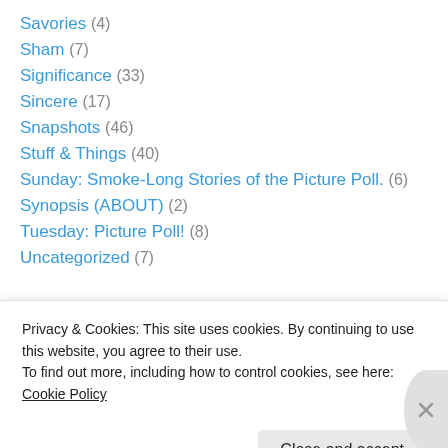Savories (4)
Sham (7)
Significance (33)
Sincere (17)
Snapshots (46)
Stuff & Things (40)
Sunday: Smoke-Long Stories of the Picture Poll. (6)
Synopsis (ABOUT) (2)
Tuesday: Picture Poll! (8)
Uncategorized (7)
Advertisements
[Figure (other): Dark advertisement banner with play button icon]
Privacy & Cookies: This site uses cookies. By continuing to use this website, you agree to their use. To find out more, including how to control cookies, see here: Cookie Policy
Close and accept